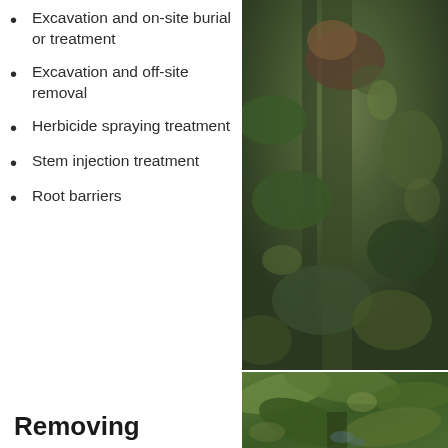Excavation and on-site burial or treatment
Excavation and off-site removal
Herbicide spraying treatment
Stem injection treatment
Root barriers
[Figure (photo): Dense green vegetation/plant growth photograph, upper image]
[Figure (photo): Dense green vegetation/plant growth photograph, lower image]
Removing